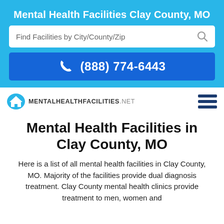Mental Health Facilities Clay County, MO
[Figure (screenshot): Search bar with placeholder text 'Find Facilities by City/County/Zip' and a search icon on the right]
[Figure (screenshot): Blue phone button with phone icon and number (888) 774-6443]
[Figure (logo): MentalHealthFacilities.net logo with house icon and hamburger menu]
Mental Health Facilities in Clay County, MO
Here is a list of all mental health facilities in Clay County, MO. Majority of the facilities provide dual diagnosis treatment. Clay County mental health clinics provide treatment to men, women and